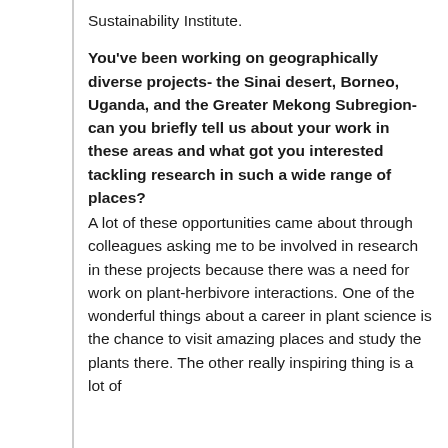Sustainability Institute.
You've been working on geographically diverse projects- the Sinai desert, Borneo, Uganda, and the Greater Mekong Subregion- can you briefly tell us about your work in these areas and what got you interested tackling research in such a wide range of places?
A lot of these opportunities came about through colleagues asking me to be involved in research in these projects because there was a need for work on plant-herbivore interactions. One of the wonderful things about a career in plant science is the chance to visit amazing places and study the plants there. The other really inspiring thing is a lot of